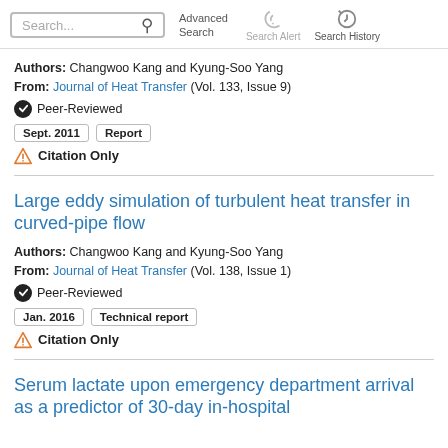Search... Advanced Search Search Alert Search History
Authors: Changwoo Kang and Kyung-Soo Yang
From: Journal of Heat Transfer (Vol. 133, Issue 9)
✔ Peer-Reviewed
Sept. 2011  Report
⚠ Citation Only
Large eddy simulation of turbulent heat transfer in curved-pipe flow
Authors: Changwoo Kang and Kyung-Soo Yang
From: Journal of Heat Transfer (Vol. 138, Issue 1)
✔ Peer-Reviewed
Jan. 2016  Technical report
⚠ Citation Only
Serum lactate upon emergency department arrival as a predictor of 30-day in-hospital